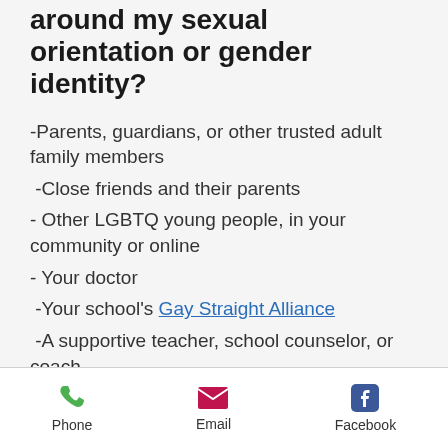around my sexual orientation or gender identity?
-Parents, guardians, or other trusted adult family members
-Close friends and their parents
- Other LGBTQ young people, in your community or online
- Your doctor
-Your school's Gay Straight Alliance
-A supportive teacher, school counselor, or coach
Phone  Email  Facebook